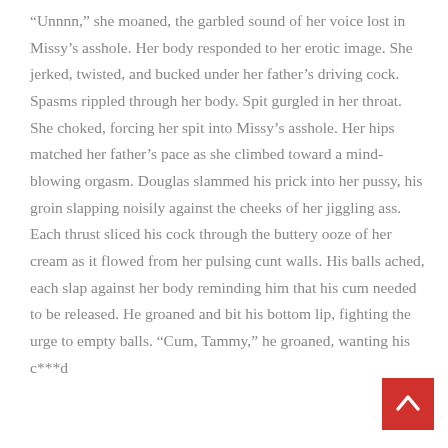“Unnnn,” she moaned, the garbled sound of her voice lost in Missy’s asshole. Her body responded to her erotic image. She jerked, twisted, and bucked under her father’s driving cock. Spasms rippled through her body. Spit gurgled in her throat. She choked, forcing her spit into Missy’s asshole. Her hips matched her father’s pace as she climbed toward a mind-blowing orgasm. Douglas slammed his prick into her pussy, his groin slapping noisily against the cheeks of her jiggling ass. Each thrust sliced his cock through the buttery ooze of her cream as it flowed from her pulsing cunt walls. His balls ached, each slap against her body reminding him that his cum needed to be released. He groaned and bit his bottom lip, fighting the urge to empty balls. “Cum, Tammy,” he groaned, wanting his c***d
[Figure (other): Back to top button - red square with white upward chevron arrow]